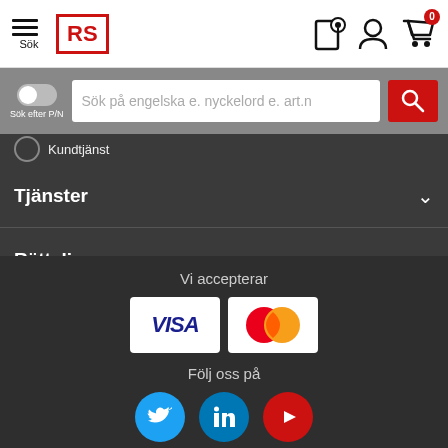[Figure (screenshot): RS Components website header with hamburger menu, RS logo, location pin icon, user icon, and cart icon with 0 badge]
[Figure (screenshot): Search bar with P/N toggle and placeholder text 'Sök på engelska e. nyckelord e. art.nr' and red search button]
Kundtjänst
Tjänster
Rättslig
Om RS
Vi accepterar
[Figure (logo): VISA and Mastercard payment logos]
Följ oss på
[Figure (logo): Twitter, LinkedIn, and YouTube social media icons]